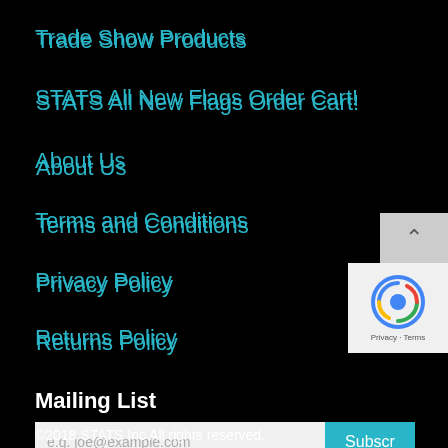Trade Show Products
STATS All New Flags Order Cart!
About Us
Terms and Conditions
Privacy Policy
Returns Policy
Contact Us
Mailing List
e.g. joe@example.com
©2018 STATS Inc All rights reserved.